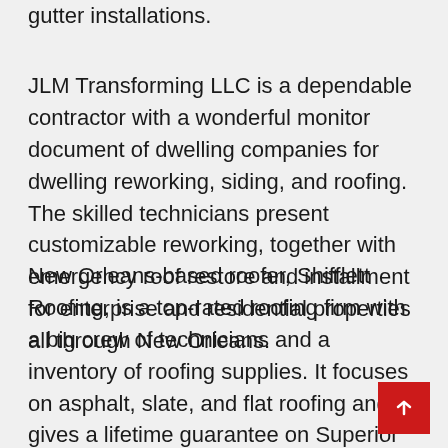gutter installations.
JLM Transforming LLC is a dependable contractor with a wonderful monitor document of dwelling companies for dwelling reworking, siding, and roofing. The skilled technicians present customizable reworking, together with emergency roof restore and installment for enterprise and residential properties all through New Orleans.
New Orleans-based roofer, Shifflett Roofing, is a top-rated roofing firm with a big crew of technicians and a inventory of roofing supplies. It focuses on asphalt, slate, and flat roofing and gives a lifetime guarantee on Superior Safety Shingles.